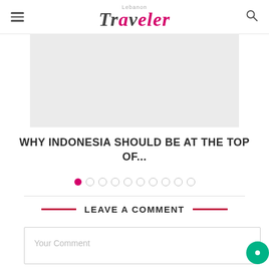Lebanon Traveler
[Figure (photo): Placeholder image area (light gray) for a travel slideshow card]
WHY INDONESIA SHOULD BE AT THE TOP OF...
[Figure (infographic): Pagination dots row: first dot filled pink/red, nine remaining dots outlined gray]
LEAVE A COMMENT
Your Comment